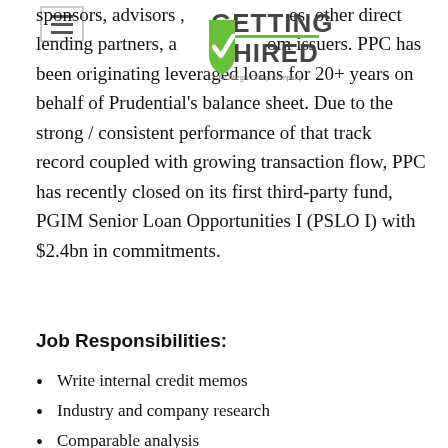sponsors, advisors, es, other direct lending partners, and om issuers. PPC has been originating leveraged loans for 20+ years on behalf of Prudential's balance sheet. Due to the strong / consistent performance of that track record coupled with growing transaction flow, PPC has recently closed on its first third-party fund, PGIM Senior Loan Opportunities I (PSLO I) with $2.4bn in commitments.
[Figure (logo): Getting Hired logo - An Allegis Group Company]
Job Responsibilities:
Write internal credit memos
Industry and company research
Comparable analysis
Financial modeling and credit analysis
Transaction and due diligence support
Portfolio and credit monitoring